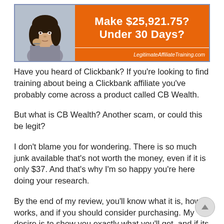[Figure (infographic): Orange banner advertisement with a photo of a young woman on the left and bold white text reading 'Make $25,921.75? Under 30 Days?' with 'LegitimateAffiliateTraining.com' in the lower right corner.]
Have you heard of Clickbank? If you're looking to find training about being a Clickbank affiliate you've probably come across a product called CB Wealth.
But what is CB Wealth? Another scam, or could this be legit?
I don't blame you for wondering. There is so much junk available that's not worth the money, even if it is only $37. And that's why I'm so happy you're here doing your research.
By the end of my review, you'll know what it is, how it works, and if you should consider purchasing. My desire is to show you exactly what you'll get, and if its anything like what the video promises.